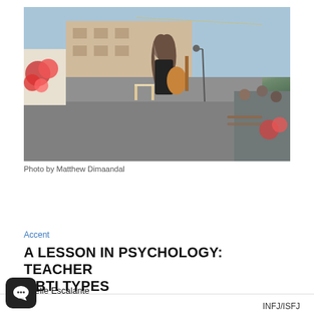[Figure (photo): Person with long hair playing an acoustic guitar on an outdoor stage/patio area, wearing a black outfit. Flowers visible on left, microphone stand to right, audience seated in background.]
Photo by Matthew Dimaandal
Accent
A LESSON IN PSYCHOLOGY: TEACHER MBTI TYPES
Noelle Escalante
INFJ/ISFJ